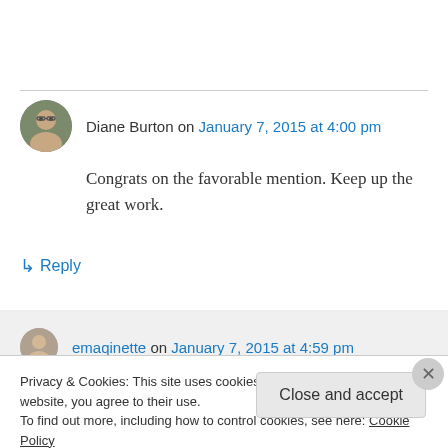Diane Burton on January 7, 2015 at 4:00 pm
Congrats on the favorable mention. Keep up the great work.
↳ Reply
emaqinette on January 7, 2015 at 4:59 pm
Privacy & Cookies: This site uses cookies. By continuing to use this website, you agree to their use.
To find out more, including how to control cookies, see here: Cookie Policy
Close and accept